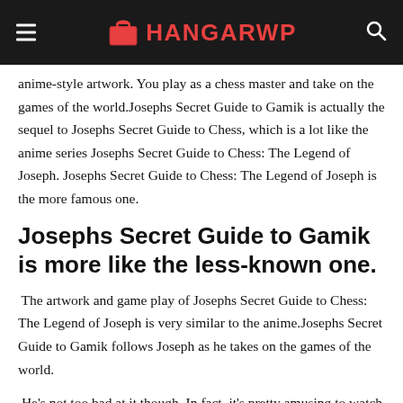HANGARWP
anime-style artwork. You play as a chess master and take on the games of the world.Josephs Secret Guide to Gamik is actually the sequel to Josephs Secret Guide to Chess, which is a lot like the anime series Josephs Secret Guide to Chess: The Legend of Joseph. Josephs Secret Guide to Chess: The Legend of Joseph is the more famous one.
Josephs Secret Guide to Gamik is more like the less-known one.
The artwork and game play of Josephs Secret Guide to Chess: The Legend of Joseph is very similar to the anime.Josephs Secret Guide to Gamik follows Joseph as he takes on the games of the world.
He's not too bad at it though. In fact, it's pretty amusing to watch him beat up the AI-controlled chess pieces around him like they are a bunch of flippers, and to then see him use the same technique to beat up the AI-controlled guards at the start of the game.